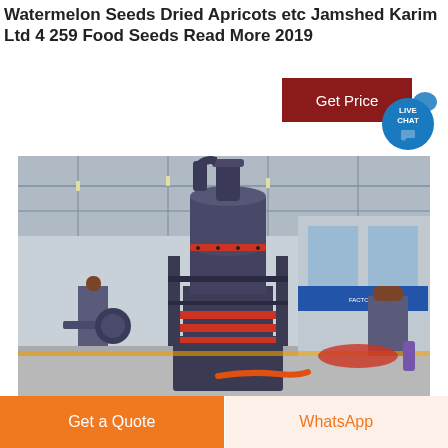Watermelon Seeds Dried Apricots etc Jamshed Karim Ltd 4 259 Food Seeds Read More 2019
[Figure (photo): Industrial grinding/milling machine (large dark grey cylindrical mill with red accent rings) in a factory warehouse setting. Other similar machines visible in background. The factory has a metal roof with lighting.]
Get Price
LIVE CHAT
Get a Quote
WhatsApp